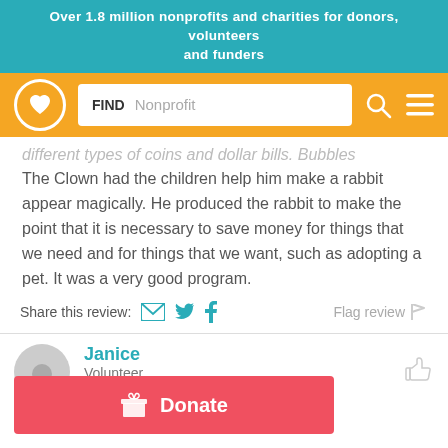Over 1.8 million nonprofits and charities for donors, volunteers and funders
[Figure (screenshot): Navigation bar with logo (heart in circle), search box labeled FIND with placeholder Nonprofit, search icon, and hamburger menu icon on orange background]
different types of coins and dollar bills. Bubbles The Clown had the children help him make a rabbit appear magically. He produced the rabbit to make the point that it is necessary to save money for things that we need and for things that we want, such as adopting a pet. It was a very good program.
Share this review:  Flag review
Janice
Volunteer